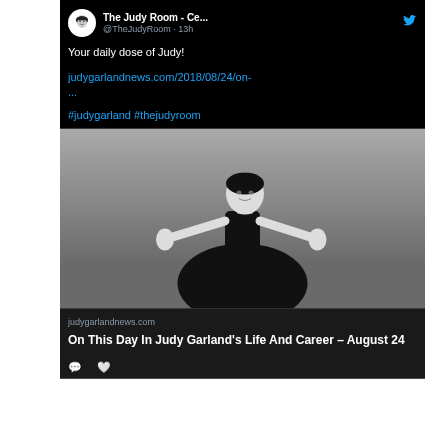The Judy Room - Ce... @TheJudyRoom · 13h
Your daily dose of Judy!
judygarlandnews.com/2018/08/24/on-
...
#judygarland #thejudyroom
[Figure (photo): Black and white photo of a woman in a dark full-skirted dress performing on stage with arms raised]
judygarlandnews.com
On This Day In Judy Garland's Life And Career – August 24